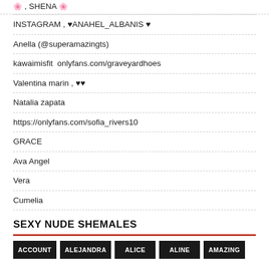🌸 , SHENA 🌸
INSTAGRAM , ♥ANAHEL_ALBANIS ♥
Anella (@superamazingts)
kawaimisfit onlyfans.com/graveyardhoes
Valentina marin , ♥♥
Natalia zapata
https://onlyfans.com/sofia_rivers10
GRACE
Ava Angel
Vera
Cumelia
SEXY NUDE SHEMALES
ACCOUNT | ALEJANDRA | ALICE | ALINE | AMAZING